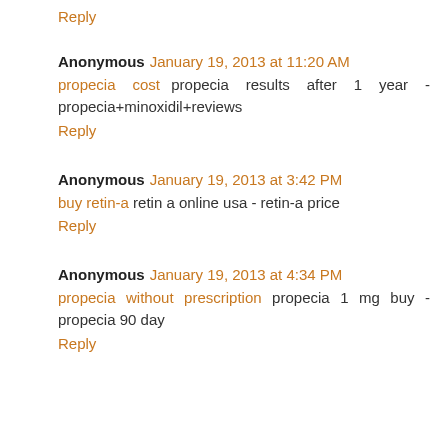Reply
Anonymous  January 19, 2013 at 11:20 AM
propecia cost propecia results after 1 year - propecia+minoxidil+reviews
Reply
Anonymous  January 19, 2013 at 3:42 PM
buy retin-a retin a online usa - retin-a price
Reply
Anonymous  January 19, 2013 at 4:34 PM
propecia without prescription propecia 1 mg buy - propecia 90 day
Reply